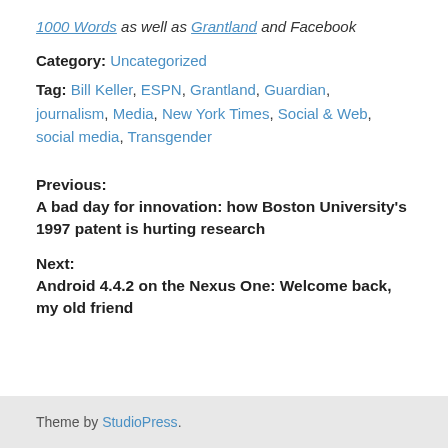1000 Words as well as Grantland and Facebook
Category: Uncategorized
Tag: Bill Keller, ESPN, Grantland, Guardian, journalism, Media, New York Times, Social & Web, social media, Transgender
Previous:
A bad day for innovation: how Boston University's 1997 patent is hurting research
Next:
Android 4.4.2 on the Nexus One: Welcome back, my old friend
Theme by StudioPress.